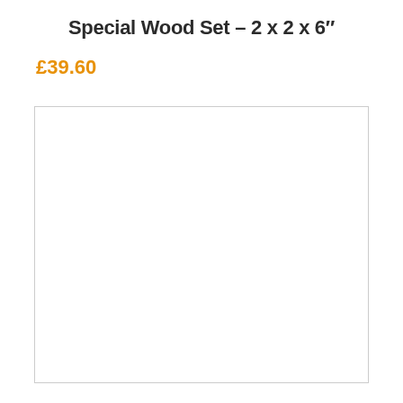Special Wood Set – 2 x 2 x 6″
£39.60
[Figure (photo): Empty white product image placeholder with light gray border]